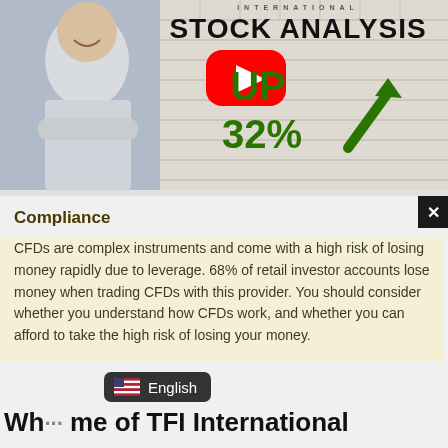[Figure (screenshot): Stock analysis promotional banner with a smiling man in a white shirt, brick wall background, 'STOCK ANALYSIS' text in bold, YouTube play button overlay, and 'UP 32%' in green with a green arrow.]
Compliance
CFDs are complex instruments and come with a high risk of losing money rapidly due to leverage. 68% of retail investor accounts lose money when trading CFDs with this provider. You should consider whether you understand how CFDs work, and whether you can afford to take the high risk of losing your money.
English
Wh... me of TFI International